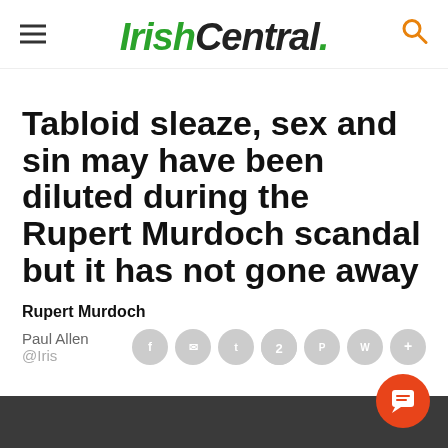IrishCentral.
Tabloid sleaze, sex and sin may have been diluted during the Rupert Murdoch scandal but it has not gone away
Rupert Murdoch
Paul Allen @IrishCentral